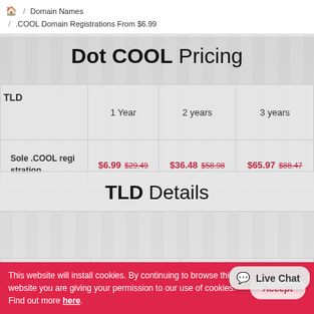🏠 / Domain Names / .COOL Domain Registrations From $6.99
Dot COOL Pricing
| TLD | 1 Year | 2 years | 3 years |
| --- | --- | --- | --- |
| Sole .COOL registration | $6.99  $29.49 | $36.48  $58.98 | $65.97  $88.47 |
TLD Details
| TLD | Registrar-Lock | Transfers | Edit WHOIS |
| --- | --- | --- | --- |